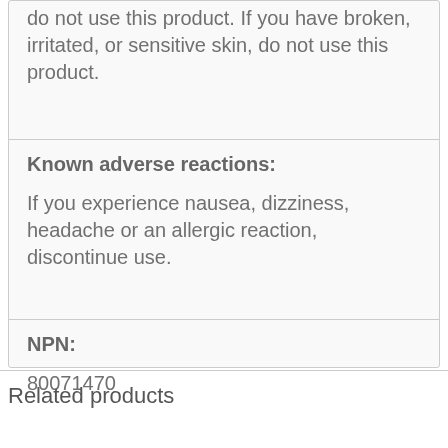do not use this product. If you have broken, irritated, or sensitive skin, do not use this product.
Known adverse reactions:
If you experience nausea, dizziness, headache or an allergic reaction, discontinue use.
NPN:
80071470
Related products